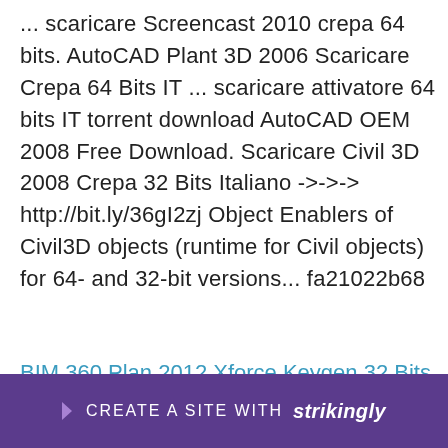... scaricare Screencast 2010 crepa 64 bits. AutoCAD Plant 3D 2006 Scaricare Crepa 64 Bits IT ... scaricare attivatore 64 bits IT torrent download AutoCAD OEM 2008 Free Download. Scaricare Civil 3D 2008 Crepa 32 Bits Italiano ->->-> http://bit.ly/36gI2zj Object Enablers of Civil3D objects (runtime for Civil objects) for 64- and 32-bit versions... fa21022b68
BIM 360 Plan 2012 Xforce Keygen 32 Bits
Himmat 2 Hindi Dubbed Mp4 Movie Download
Dil Hai Ki Manta Nahin All Songs 1080p Vs 720pl
Hancom Office 2014 For Mac Crack Torrent
Aj Applegate Anal Creampie
Jolly ... esl
Win... r